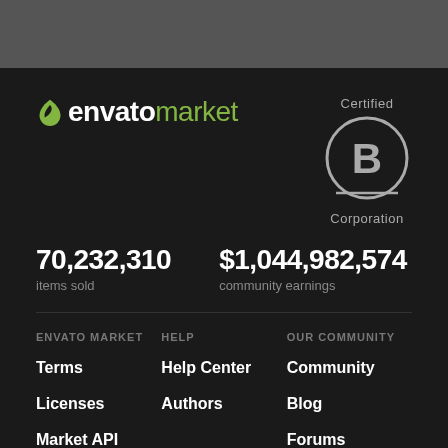[Figure (logo): Envato Market logo with green leaf icon and 'envato market' wordmark in white and green]
[Figure (logo): Certified B Corporation circular badge with 'B' in center circle, 'Certified' above, 'Corporation' below with horizontal line]
70,232,310
items sold
$1,044,982,574
community earnings
ENVATO MARKET
HELP
OUR COMMUNITY
Terms
Help Center
Community
Licenses
Authors
Blog
Market API
Forums
Become an affiliate
Meetups